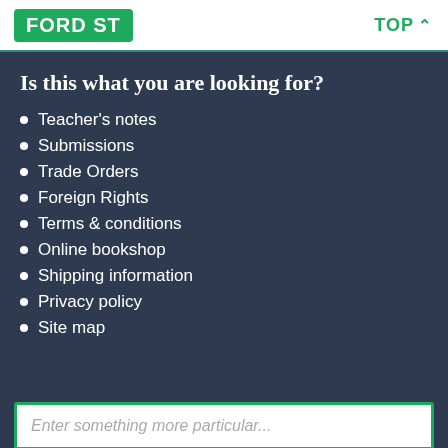FORD ST | TOP
Is this what you are looking for?
Teacher's notes
Submissions
Trade Orders
Foreign Rights
Terms & conditions
Online bookshop
Shipping information
Privacy policy
Site map
Enter something more particular...